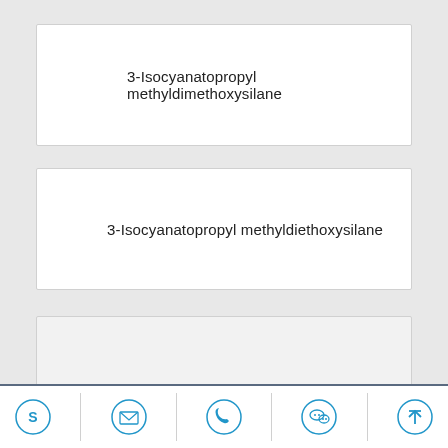3-Isocyanatopropyl methyldimethoxysilane
3-Isocyanatopropyl methyldiethoxysilane
[Figure (illustration): Logo of Combined Formula (科孚乐) with green icon and Chinese/English text, alongside a partial chemical structure diagram showing a silicon atom bonded to oxygen atoms with methyl/methoxy groups]
[Figure (schematic): Footer navigation icons: Skype, email, phone, WeChat, and scroll-to-top]
Skype | Email | Phone | WeChat | Top